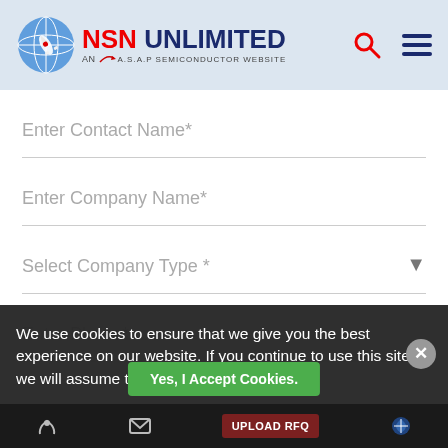[Figure (logo): NSN Unlimited logo with globe icon, red NSN text, dark blue UNLIMITED text, and ASAP Semiconductor website tagline]
Enter Contact Name*
Enter Company Name*
Select Company Type *
Enter Phone*
Enter Email*
We use cookies to ensure that we give you the best experience on our website. If you continue to use this site we will assume that you are happy with it.
Yes, I Accept Cookies.
UPLOAD RFQ